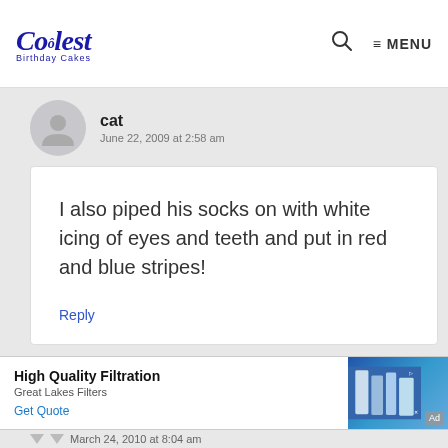Coolest Birthday Cakes — MENU
cat
June 22, 2009 at 2:58 am
I also piped his socks on with white icing of eyes and teeth and put in red and blue stripes!
Reply
High Quality Filtration
Great Lakes Filters
Get Quote
March 24, 2010 at 8:04 am